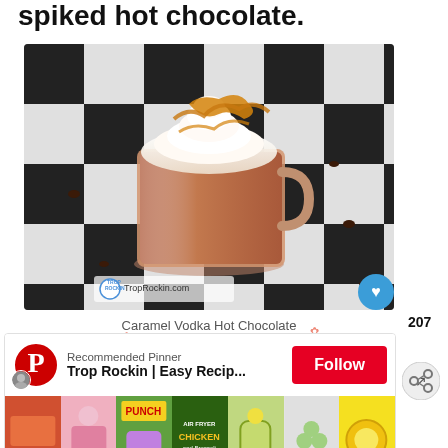spiked hot chocolate.
[Figure (photo): A glass mug of hot chocolate topped with whipped cream and caramel drizzle, sitting on a black and white checkered surface with chocolate chips scattered around. Watermark: TropRockin.com]
Caramel Vodka Hot Chocolate
[Figure (screenshot): Pinterest recommended pinner panel: Trop Rockin | Easy Recip... with a Follow button and thumbnail grid of food images]
X CLOSE